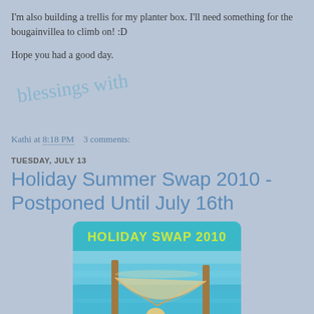I'm also building a trellis for my planter box. I'll need something for the bougainvillea to climb on! :D
Hope you had a good day.
[Figure (illustration): Handwritten cursive signature in light blue ink reading 'blessings with']
Kathi at 8:18 PM    3 comments:
TUESDAY, JULY 13
Holiday Summer Swap 2010 - Postponed Until July 16th
[Figure (photo): Holiday Swap 2010 promotional image showing a tropical beach scene with a hammock between two wooden posts over turquoise water, with text 'HOLIDAY SWAP 2010' in yellow-green letters at the top on a teal background]